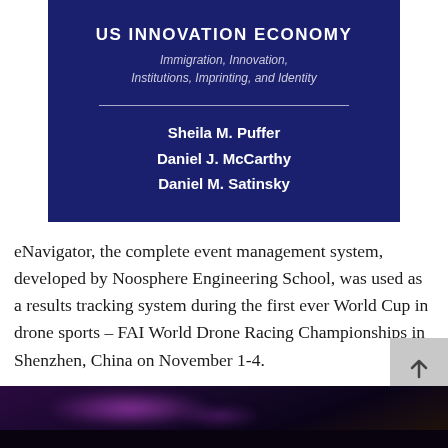[Figure (illustration): Book cover with dark navy blue background. Title 'US INNOVATION ECONOMY' in bold white uppercase text, subtitle 'Immigration, Innovation, Institutions, Imprinting, and Identity' in italic white text, horizontal divider line, and authors listed: Sheila M. Puffer, Daniel J. McCarthy, Daniel M. Satinsky in bold white text.]
eNavigator, the complete event management system, developed by Noosphere Engineering School, was used as a results tracking system during the first ever World Cup in drone sports – FAI World Drone Racing Championships in Shenzhen, China on November 1-4.
[Figure (photo): Photograph of a large indoor arena or stadium at night with purple and blue lighting effects, likely the venue for the FAI World Drone Racing Championships in Shenzhen, China.]